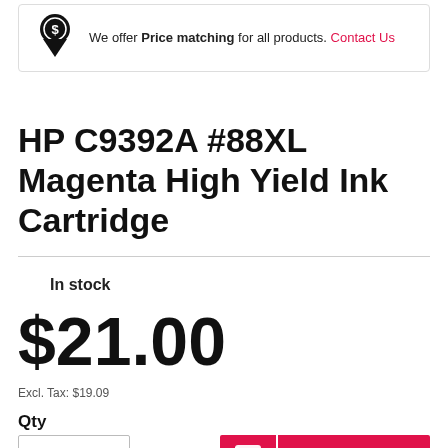We offer Price matching for all products. Contact Us
HP C9392A #88XL Magenta High Yield Ink Cartridge
In stock
$21.00
Excl. Tax: $19.09
Qty